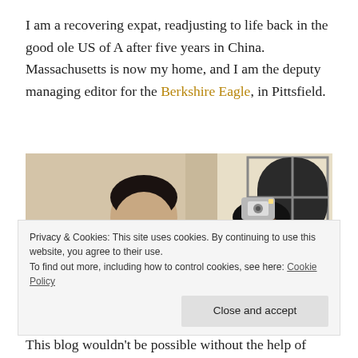I am a recovering expat, readjusting to life back in the good ole US of A after five years in China. Massachusetts is now my home, and I am the deputy managing editor for the Berkshire Eagle, in Pittsfield.
[Figure (photo): Two men indoors: a smiling man in a dark shirt on the left, another man on the right holding up a camera/device to take a photo, both appear happy. Background shows a light-colored wall and a window.]
Privacy & Cookies: This site uses cookies. By continuing to use this website, you agree to their use. To find out more, including how to control cookies, see here: Cookie Policy
Close and accept
This blog wouldn't be possible without the help of